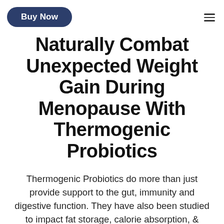Buy Now
Naturally Combat Unexpected Weight Gain During Menopause With Thermogenic Probiotics
Thermogenic Probiotics do more than just provide support to the gut, immunity and digestive function. They have also been studied to impact fat storage, calorie absorption, & provide support for a prime